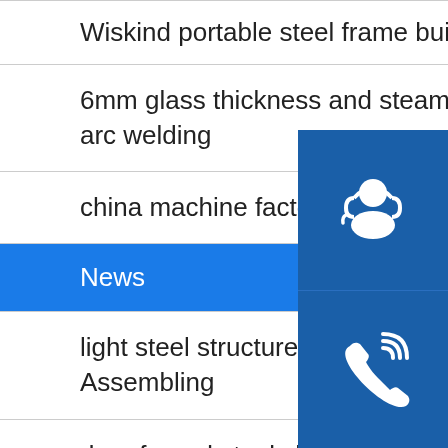Wiskind portable steel frame building Bending
6mm glass thickness and steam rooms type shower room Argon arc welding
china machine factory supplier c u light steel ke... for Beveling
News
light steel structure 3 bedroom prefabricated mo... home Assembling
drop forged steel ship anchor chain Grinding
garden net hanging hammock swing chairs for porches pat Submerged arc welding